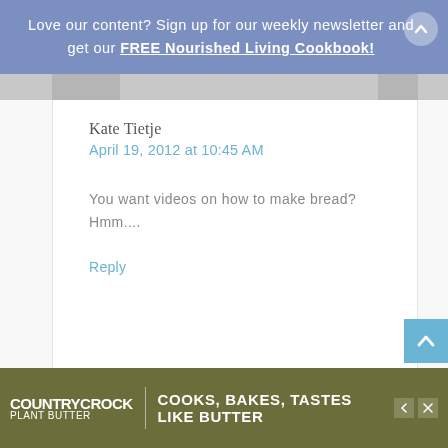Love our content? Sign up for our weekly newsletter and get our FREE Nourished Living Cookbook!
Kate Tietje
April 19, 2012 at 10:45 AM
You want videos on how to make bread? Hmm....
Reply
[Figure (infographic): CountryCrock Plant Butter advertisement banner: 'COOKS, BAKES, TASTES LIKE BUTTER']